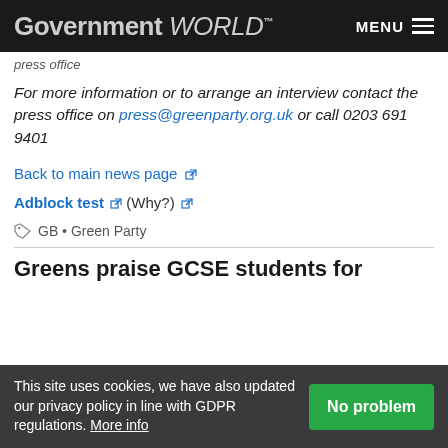Government WORLD™   MENU
press office
For more information or to arrange an interview contact the press office on press@greenparty.org.uk or call 0203 691 9401
Back to main news page
Adblock test (Why?)
GB • Green Party
Greens praise GCSE students for
This site uses cookies, we have also updated our privacy policy in line with GDPR regulations. More info